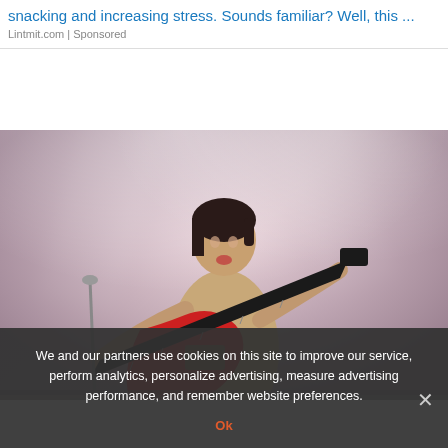snacking and increasing stress. Sounds familiar? Well, this ...
Lintmit.com | Sponsored
[Figure (photo): Concert photo of a female performer playing a red electric guitar on stage, wearing a beige/nude outfit, with dramatic stage lighting and spotlights in the background]
We and our partners use cookies on this site to improve our service, perform analytics, personalize advertising, measure advertising performance, and remember website preferences.
Ok